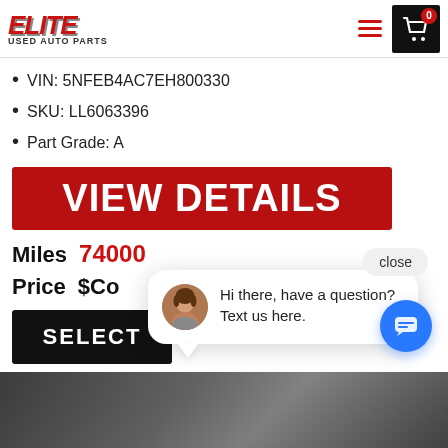[Figure (logo): Elite Used Auto Parts logo with red italic text]
VIN: 5NFEB4AC7EH800330
SKU: LL6063396
Part Grade: A
VIEW DETAILS
Miles  74000
Price  $Co
SELECT
[Figure (screenshot): Chat popup with avatar photo of woman and text: Hi there, have a question? Text us here. Close button visible.]
[Figure (photo): Bottom strip showing cars in a junkyard/salvage yard]